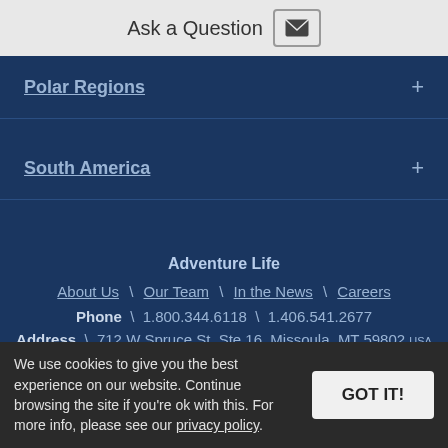Ask a Question
Polar Regions +
South America +
South Pacific +
Adventure Life
About Us \ Our Team \ In the News \ Careers
Phone \ 1.800.344.6118 \ 1.406.541.2677
Address \ 712 W Spruce St, Ste 16, Missoula, MT 59802 USA
Hours \ MON-FRI 8:30AM - 5:30PM MST
We use cookies to give you the best experience on our website. Continue browsing the site if you're ok with this. For more info, please see our privacy policy.